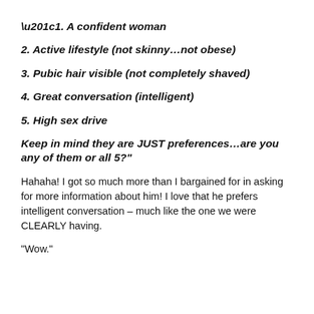“1. A confident woman
2. Active lifestyle (not skinny…not obese)
3. Pubic hair visible (not completely shaved)
4. Great conversation (intelligent)
5. High sex drive
Keep in mind they are JUST preferences…are you any of them or all 5?”
Hahaha! I got so much more than I bargained for in asking for more information about him!  I love that he prefers intelligent conversation – much like the one we were CLEARLY having.
“Wow.”